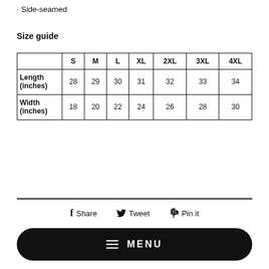· Side-seamed
Size guide
|  | S | M | L | XL | 2XL | 3XL | 4XL |
| --- | --- | --- | --- | --- | --- | --- | --- |
| Length (inches) | 28 | 29 | 30 | 31 | 32 | 33 | 34 |
| Width (inches) | 18 | 20 | 22 | 24 | 26 | 28 | 30 |
Share   Tweet   Pin it
≡ MENU